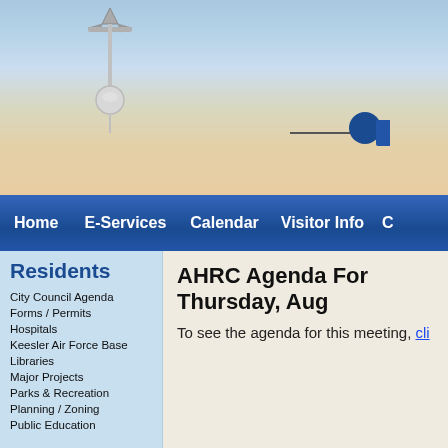[Figure (illustration): City website header image with sky gradient background and a weather vane icon, partially visible navigation icons on the right]
Home    E-Services    Calendar    Visitor Info    C...
Residents
City Council Agenda
Forms / Permits
Hospitals
Keesler Air Force Base
Libraries
Major Projects
Parks & Recreation
Planning / Zoning
Public Education
AHRC Agenda For Thursday, Aug...
To see the agenda for this meeting, cli...